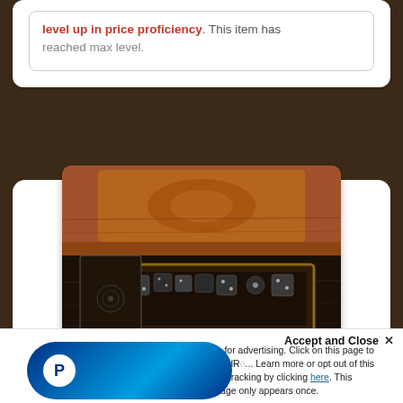level up in price proficiency. This item has reached max level.
[Figure (photo): A decorative carved wooden dice box open to reveal dark metal polyhedral dice inside, set on a dark wooden table, with ornate wood carving visible behind it.]
Accept and Close ×
You... for advertising. Click on this page to allow AdR... Learn more or opt out of this AdRoll tracking by clicking here. This message only appears once.